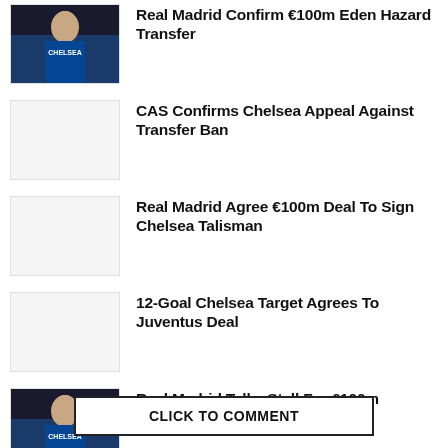[Figure (photo): Photo of Eden Hazard in Chelsea blue kit]
Real Madrid Confirm €100m Eden Hazard Transfer
[Figure (photo): Placeholder image (light gray box)]
CAS Confirms Chelsea Appeal Against Transfer Ban
[Figure (photo): Placeholder image (light gray box)]
Real Madrid Agree €100m Deal To Sign Chelsea Talisman
[Figure (photo): Placeholder image (light gray box)]
12-Goal Chelsea Target Agrees To Juventus Deal
[Figure (photo): Photo of Eden Hazard in Chelsea blue kit]
Real Madrid Talks Stall For £100m Chelsea Star
CLICK TO COMMENT